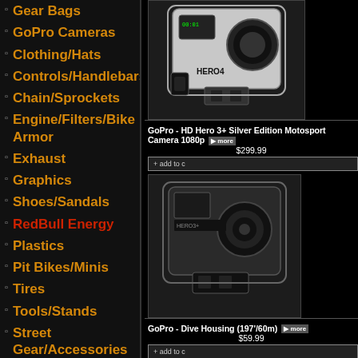Gear Bags
GoPro Cameras
Clothing/Hats
Controls/Handlebars
Chain/Sprockets
Engine/Filters/Bike Armor
Exhaust
Graphics
Shoes/Sandals
RedBull Energy
Plastics
Pit Bikes/Minis
Tires
Tools/Stands
Street Gear/Accessories
ATV
Videos
E-mail Us
[Figure (photo): GoPro Hero4 camera in waterproof housing]
GoPro - HD Hero 3+ Silver Edition Motosport Camera 1080p $299.99
[Figure (photo): GoPro HD Hero 3+ Silver Edition camera in waterproof housing]
GoPro - Dive Housing (197'/60m) $59.99
[Figure (photo): GoPro Dive Housing waterproof case]
GoPro - Battery BacPac $49.99